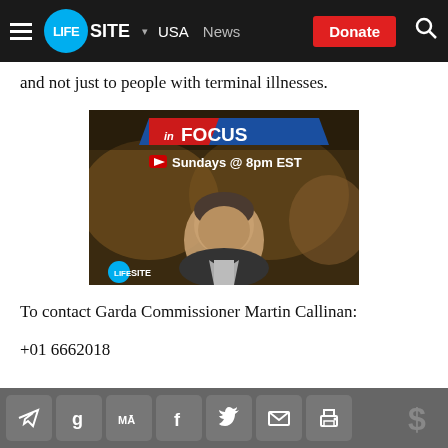LIFESITE — USA News — Donate
and not just to people with terminal illnesses.
[Figure (photo): LifeSite 'In Focus' promotional image with man in front of world map background. Text reads 'inFOCUS Sundays @ 8pm EST' with YouTube logo.]
To contact Garda Commissioner Martin Callinan:
+01 6662018
Share icons: Telegram, Gab, MeWe, Facebook, Twitter, Email, Print, Donate